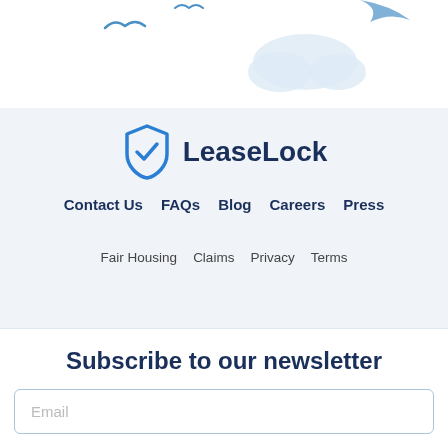[Figure (illustration): Partial decorative illustration with birds and cloud shapes in light blue on white background]
[Figure (logo): LeaseLock logo: blue shield with white checkmark and bold dark blue text 'LeaseLock']
Contact Us   FAQs   Blog   Careers   Press
Fair Housing   Claims   Privacy   Terms
Subscribe to our newsletter
Email